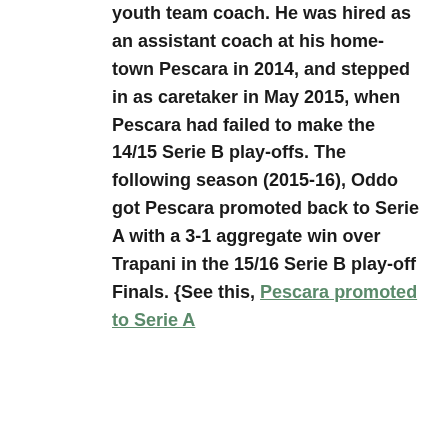youth team coach. He was hired as an assistant coach at his home-town Pescara in 2014, and stepped in as caretaker in May 2015, when Pescara had failed to make the 14/15 Serie B play-offs. The following season (2015-16), Oddo got Pescara promoted back to Serie A with a 3-1 aggregate win over Trapani in the 15/16 Serie B play-off Finals. {See this, Pescara promoted to Serie A